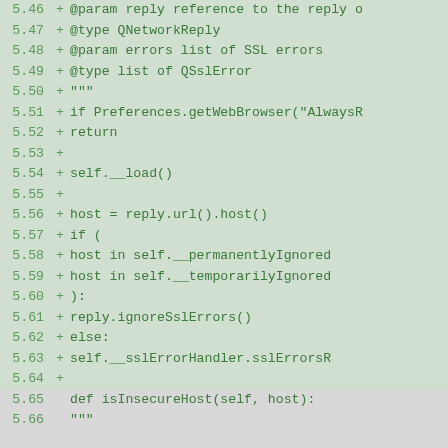Code diff showing Python source lines 5.46–5.66 with added lines (+) including @param/@type docstring annotations, if/else logic for SSL error handling, and a def isInsecureHost method.